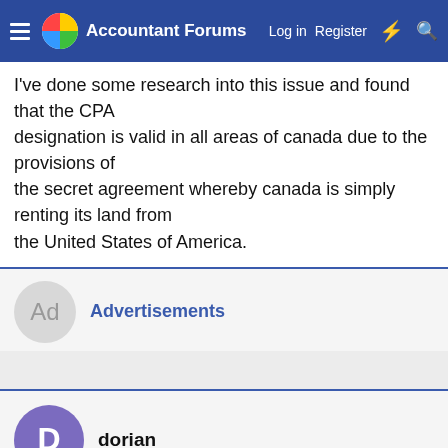Accountant Forums | Log in | Register
I've done some research into this issue and found that the CPA designation is valid in all areas of canada due to the provisions of the secret agreement whereby canada is simply renting its land from the United States of America.
Advertisements
dorian
Jun 4, 2004  #7